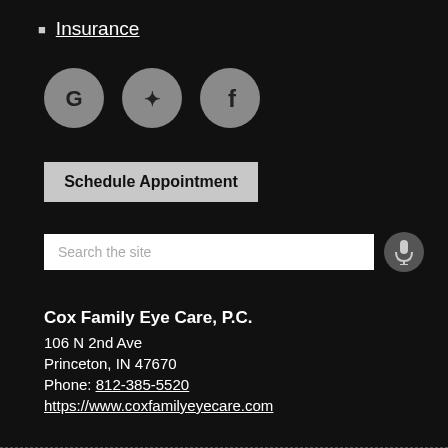Insurance
[Figure (illustration): Three circular social media icons: Google (G), Yelp (y flower), and Facebook (f), all in grey on black background.]
Schedule Appointment
Search the site
Cox Family Eye Care, P.C.
106 N 2nd Ave
Princeton, IN 47670
Phone: 812-385-5520
https://www.coxfamilyeyecare.com